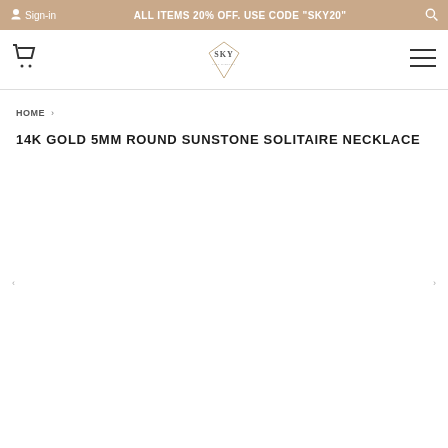Sign-in | ALL ITEMS 20% OFF. USE CODE "SKY20" | Search
[Figure (logo): SKY jewelry brand logo in center of navigation bar with cart icon left and hamburger menu right]
HOME ›
14K GOLD 5MM ROUND SUNSTONE SOLITAIRE NECKLACE
[Figure (photo): Product image area with left and right navigation arrows, image appears blank/white]